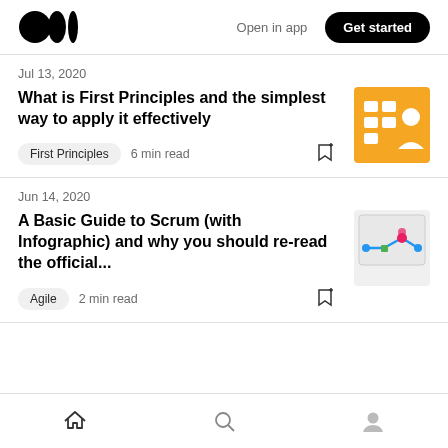Open in app  Get started
Jul 13, 2020
What is First Principles and the simplest way to apply it effectively
First Principles  6 min read
Jun 14, 2020
A Basic Guide to Scrum (with Infographic) and why you should re-read the official...
Agile  2 min read
Home  Search  Profile